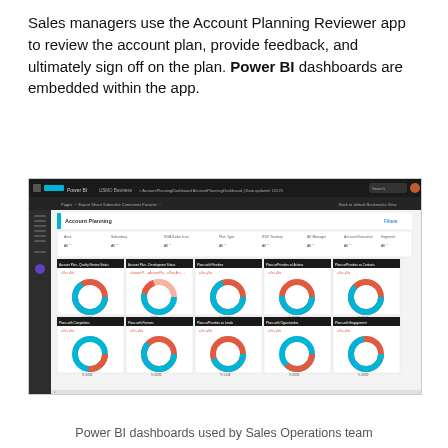Sales managers use the Account Planning Reviewer app to review the account plan, provide feedback, and ultimately sign off on the plan. Power BI dashboards are embedded within the app.
[Figure (screenshot): Screenshot of a Power BI dashboard in the Account Planning Reviewer app, showing 10 donut charts arranged in two rows of five, each displaying account plan metrics such as Quality Review Status, Development Status, Plans with Priorities, Plans with Priorities w/ Actions, Plans with Priorities as Contacts, Plans with Competitors, Plans with Partners, Plans with Priorities as Leads, Plans with Opportunities, and Plans with Engagement. The donut charts use teal and coral/salmon colors. The dashboard has a dark top navigation bar with Microsoft and Power BI branding, a filter row with dropdowns for Area, Subsidiary, RDA/Sales Icon, Plan Type, RSV Territory, AV Manager, Account Executive, Segment, Industry.]
Power BI dashboards used by Sales Operations team